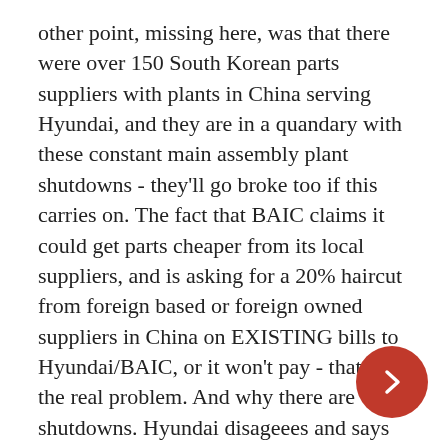other point, missing here, was that there were over 150 South Korean parts suppliers with plants in China serving Hyundai, and they are in a quandary with these constant main assembly plant shutdowns - they'll go broke too if this carries on. The fact that BAIC claims it could get parts cheaper from its local suppliers, and is asking for a 20% haircut from foreign based or foreign owned suppliers in China on EXISTING bills to Hyundai/BAIC, or it won't pay - that is the real problem. And why there are shutdowns. Hyundai disageees and says to get quality from Chinese suppliers will take five to ten years. Stalemate. All those Western companies who hied themselves off to China to get cheap labor to bolster the quarterly report bottom lines twenty years ago are now reaping their rewards on our behalves.
Meanwhile, people who cannot read or fail to comprehend that our own capitalists screwed us